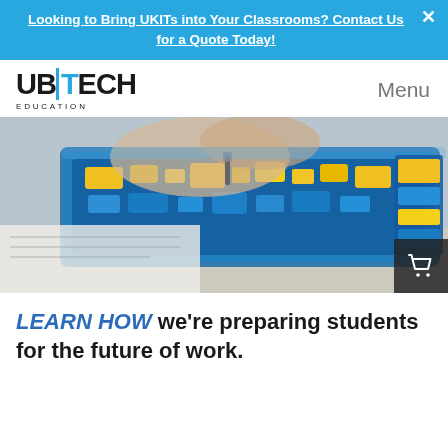Looking to Bring UKITs into Your Classrooms? Contact Us for a Quote Today!
[Figure (logo): UBTECH EDUCATION logo]
Menu
[Figure (photo): Child's hands working with robotics kit components in a blue storage case with yellow and blue robotic parts]
LEARN HOW we're preparing students for the future of work.